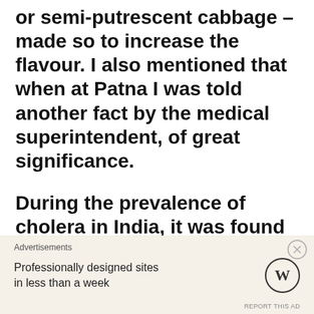nearly vegetable diet, with a little fish or semi-putrescent cabbage – made so to increase the flavour. I also mentioned that when at Patna I was told another fact by the medical superintendent, of great significance.
During the prevalence of cholera in India, it was found that none of the workers – men, women, and children, to the number of several hundreds – employed in the Government factory, in the preparation of opium for the
Advertisements
Professionally designed sites in less than a week